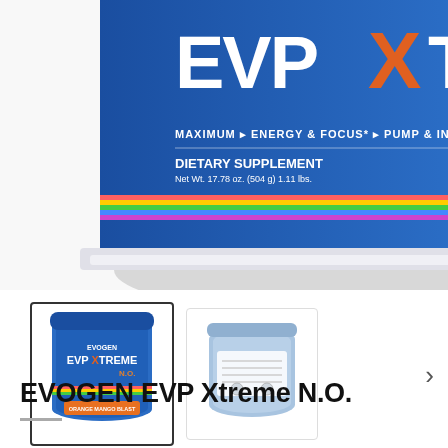[Figure (photo): Close-up of an Evogen EVP Xtreme N.O. supplement tub, showing the blue label with orange and white text. Label reads: MAXIMUM ENERGY & FOCUS, PUMP & INTENSITY, MUSCLE VOLUMIZATION, DIETARY SUPPLEMENT, Net Wt. 17.78 oz. (504g) 1.11 lbs., PATENTED NO3-T NITRATE TECHNOLOGY, ORANGE MANGO BLAST flavor.]
[Figure (photo): Two product thumbnail images: first (selected, bordered) shows full front label of Evogen EVP Xtreme N.O. tub in blue; second shows the back/side of the same tub.]
EVOGEN EVP Xtreme N.O.